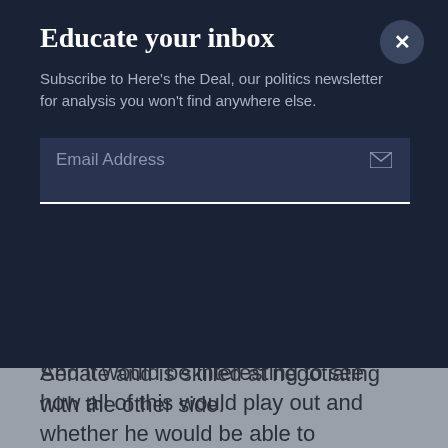Educate your inbox
Subscribe to Here's the Deal, our politics newsletter for analysis you won't find anywhere else.
Email Address
If that were to happen, I think this would be a real sweet spot for president-elect Joe Biden, who, of course, spent many years in the Senate and is skilled at negotiating with the other side.
And it would be interesting to see how all of this would play out and whether he would be able to persuade Congress then to pass a law making sure that the ACA